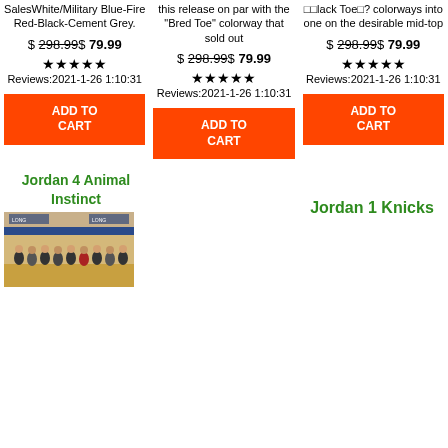SalesWhite/Military Blue-Fire Red-Black-Cement Grey.
$ 298.99$ 79.99
★★★★★ Reviews:2021-1-26 1:10:31
this release on par with the "Bred Toe" colorway that sold out
$ 298.99$ 79.99
★★★★★ Reviews:2021-1-26 1:10:31
black Toe? colorways into one on the desirable mid-top
$ 298.99$ 79.99
★★★★★ Reviews:2021-1-26 1:10:31
ADD TO CART
ADD TO CART
ADD TO CART
Jordan 4 Animal Instinct
[Figure (photo): Basketball team photo in gymnasium]
Jordan 1 Knicks